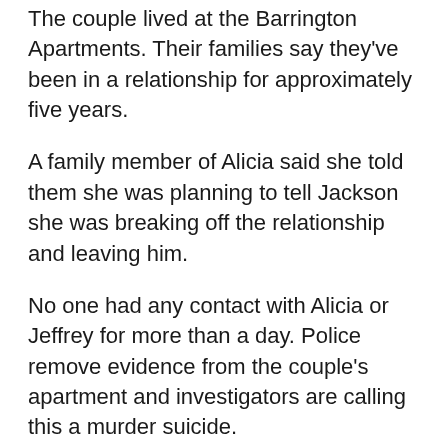The couple lived at the Barrington Apartments. Their families say they've been in a relationship for approximately five years.
A family member of Alicia said she told them she was planning to tell Jackson she was breaking off the relationship and leaving him.
No one had any contact with Alicia or Jeffrey for more than a day. Police remove evidence from the couple's apartment and investigators are calling this a murder suicide.
Police are not indicating the aggressor but they say there is no one else responsible and they're not looking for anyone else.
"A lot of people loved him, he was a hard worker," said